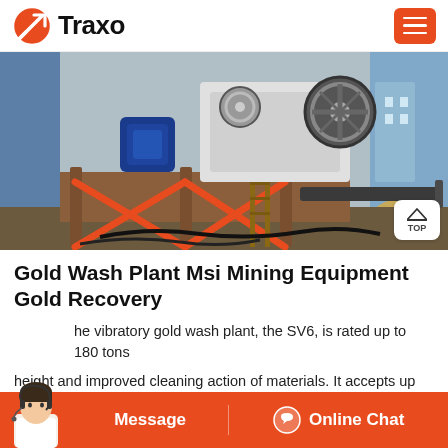Traxo
[Figure (photo): Industrial gold wash plant / jaw crusher mining equipment on a metal frame with red diagonal supports, blue electric motor, large flywheel, and a pile of gravel material in the background. A TOP navigation button is visible in the bottom-right corner of the image.]
Gold Wash Plant Msi Mining Equipment Gold Recovery
he vibratory gold wash plant, the SV6, is rated up to 180 tons
height and improved cleaning action of materials. It accepts up